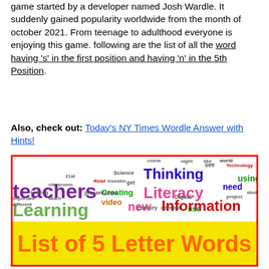game started by a developer named Josh Wardle. It suddenly gained popularity worldwide from the month of october 2021. From teenage to adulthood everyone is enjoying this game. following are the list of all the word having ‘s’ in the first position and having ‘n’ in the 5th Position.
Also, check out: Today's NY Times Wordle Answer with Hints!
[Figure (illustration): Word cloud image showing various education and literacy related words like teachers, Learning, Literacy, Thinking, Information, new, video, Reading, text, etc. with a yellow banner in the middle reading 'List of 5 Letter Words']